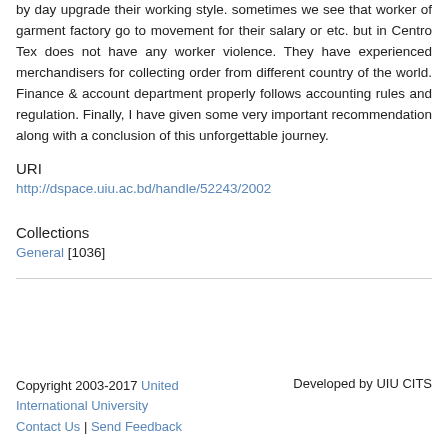by day upgrade their working style. sometimes we see that worker of garment factory go to movement for their salary or etc. but in Centro Tex does not have any worker violence. They have experienced merchandisers for collecting order from different country of the world. Finance & account department properly follows accounting rules and regulation. Finally, I have given some very important recommendation along with a conclusion of this unforgettable journey.
URI
http://dspace.uiu.ac.bd/handle/52243/2002
Collections
General [1036]
Copyright 2003-2017 United International University Contact Us | Send Feedback  Developed by UIU CITS